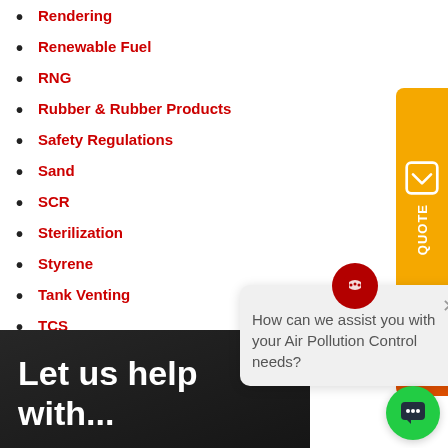Rendering
Renewable Fuel
RNG
Rubber & Rubber Products
Safety Regulations
Sand
SCR
Sterilization
Styrene
Tank Venting
TCS
Thermal Combustor System
Thermal Oxidizer
VOC Emissions
Waste Heat Recovery
Wastewater Treatment
Web Coating
How can we assist you with your Air Pollution Control needs?
[Figure (screenshot): Let us help banner image with dark industrial background]